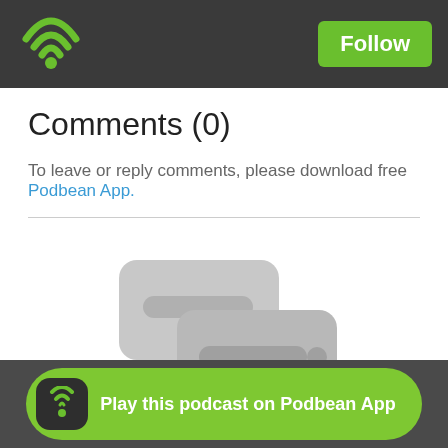Podbean logo and Follow button
Comments (0)
To leave or reply comments, please download free Podbean App.
[Figure (illustration): Two overlapping light grey speech bubble / comment icons indicating no comments]
No Comments
Play this podcast on Podbean App